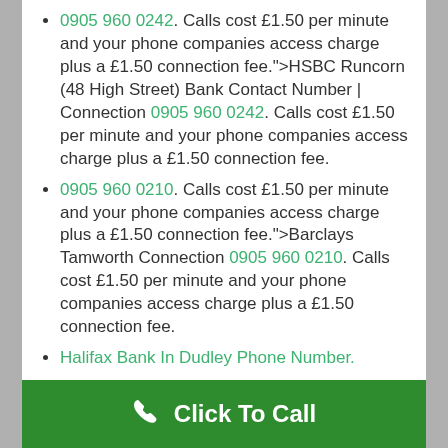0905 960 0242. Calls cost £1.50 per minute and your phone companies access charge plus a £1.50 connection fee.">HSBC Runcorn (48 High Street) Bank Contact Number | Connection 0905 960 0242. Calls cost £1.50 per minute and your phone companies access charge plus a £1.50 connection fee.
0905 960 0210. Calls cost £1.50 per minute and your phone companies access charge plus a £1.50 connection fee.">Barclays Tamworth Connection 0905 960 0210. Calls cost £1.50 per minute and your phone companies access charge plus a £1.50 connection fee.
Halifax Bank In Dudley Phone Number.
Click To Call